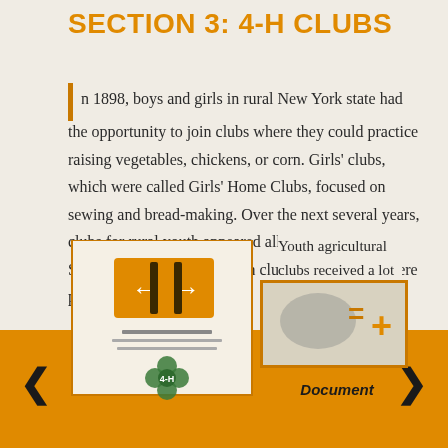SECTION 3: 4-H CLUBS
In 1898, boys and girls in rural New York state had the opportunity to join clubs where they could practice raising vegetables, chickens, or corn. Girls' clubs, which were called Girls' Home Clubs, focused on sewing and bread-making. Over the next several years, clubs for rural youth appeared all over the United States. In North Dakota, corn clubs and pig clubs were popular.
[Figure (illustration): Document/pamphlet illustration with a 4-H clover emblem, shown with navigation arrows on left side panel]
Youth agricultural clubs received a lot of attention from agricultural college
[Figure (illustration): Document image with map and math symbols (= and +), labeled 'Document']